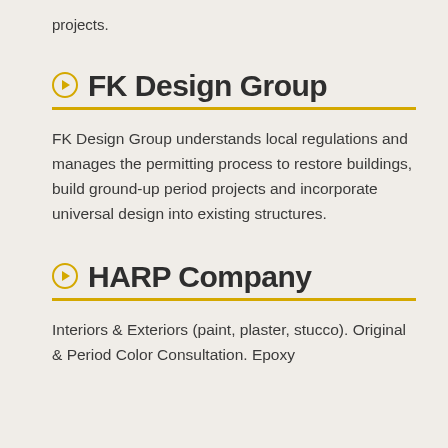projects.
FK Design Group
FK Design Group understands local regulations and manages the permitting process to restore buildings, build ground-up period projects and incorporate universal design into existing structures.
HARP Company
Interiors & Exteriors (paint, plaster, stucco). Original & Period Color Consultation. Epoxy